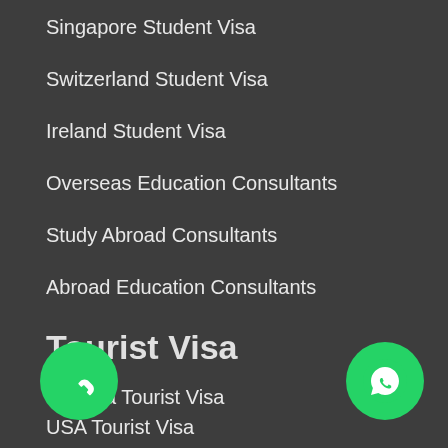Singapore Student Visa
Switzerland Student Visa
Ireland Student Visa
Overseas Education Consultants
Study Abroad Consultants
Abroad Education Consultants
Tourist Visa
Canada Tourist Visa
USA Tourist Visa
UK Tourist Visa
Australia Tourist Visa
New Zealand Tourist Visa